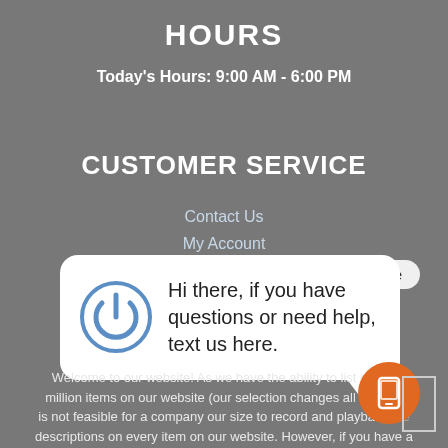HOURS
Today's Hours: 9:00 AM - 6:00 PM
CUSTOMER SERVICE
Contact Us
My Account
Privacy Policy
[Figure (screenshot): Chat popup widget with power icon and message: 'Hi there, if you have questions or need help, text us here.' with a close button.]
Welcome to our website! As we have the ability to list over a million items on our website (our selection changes all of the... is not feasible for a company our size to record and playback the descriptions on every item on our website. However, if you have a disability...